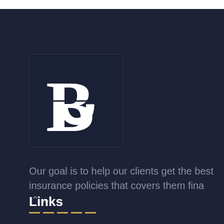[Figure (logo): Large stylized letter B in white on a dark navy background square, serif font logo]
Our goal is to help our clients get the best insurance policies that covers them fina…
Links
Home